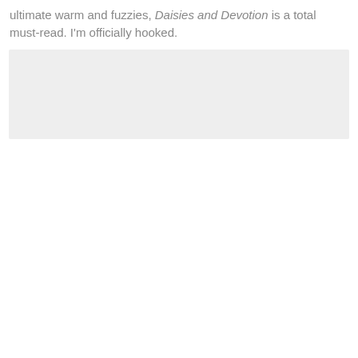ultimate warm and fuzzies, Daisies and Devotion is a total must-read. I'm officially hooked.
[Figure (other): Light grey rectangular placeholder box]